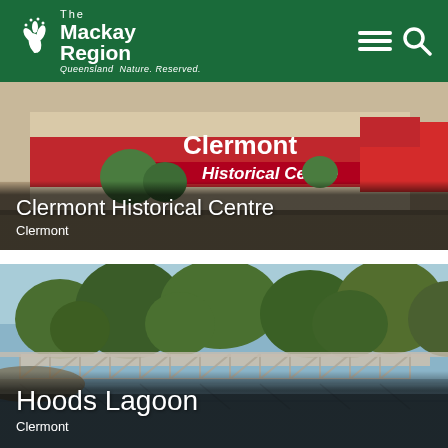The Mackay Region — Queensland Nature. Reserved.
[Figure (photo): Clermont Historical Centre building exterior with red signage reading 'Clermont Historical Centre']
Clermont Historical Centre
Clermont
[Figure (photo): Hoods Lagoon with a historic iron truss bridge spanning still water, surrounded by green trees]
Hoods Lagoon
Clermont